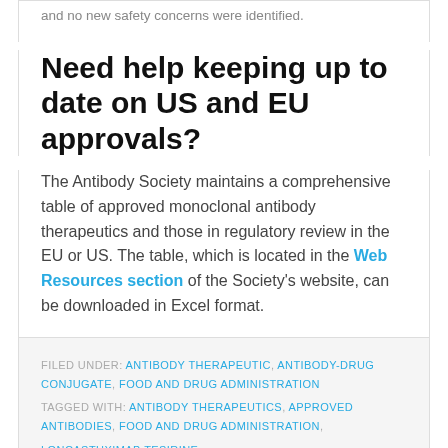and no new safety concerns were identified.
Need help keeping up to date on US and EU approvals?
The Antibody Society maintains a comprehensive table of approved monoclonal antibody therapeutics and those in regulatory review in the EU or US. The table, which is located in the Web Resources section of the Society's website, can be downloaded in Excel format.
FILED UNDER: ANTIBODY THERAPEUTIC, ANTIBODY-DRUG CONJUGATE, FOOD AND DRUG ADMINISTRATION
TAGGED WITH: ANTIBODY THERAPEUTICS, APPROVED ANTIBODIES, FOOD AND DRUG ADMINISTRATION, LONCASTUXIMAB TESIRINE